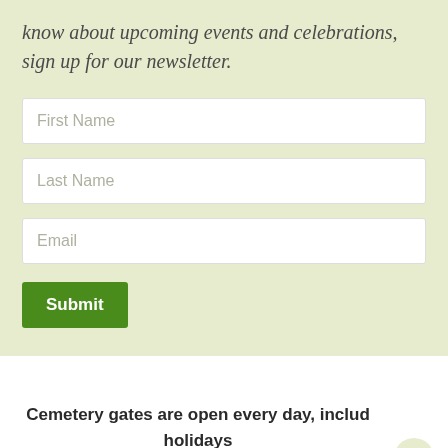know about upcoming events and celebrations, sign up for our newsletter.
First Name
Last Name
Email
Submit
Cemetery gates are open every day, includ holidays